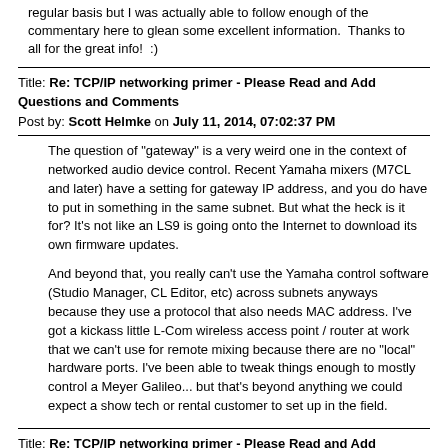regular basis but I was actually able to follow enough of the commentary here to glean some excellent information.  Thanks to all for the great info!  :)
Title: Re: TCP/IP networking primer - Please Read and Add Questions and Comments
Post by: Scott Helmke on July 11, 2014, 07:02:37 PM
The question of "gateway" is a very weird one in the context of networked audio device control. Recent Yamaha mixers (M7CL and later) have a setting for gateway IP address, and you do have to put in something in the same subnet. But what the heck is it for? It's not like an LS9 is going onto the Internet to download its own firmware updates.

And beyond that, you really can't use the Yamaha control software (Studio Manager, CL Editor, etc) across subnets anyways because they use a protocol that also needs MAC address. I've got a kickass little L-Com wireless access point / router at work that we can't use for remote mixing because there are no "local" hardware ports. I've been able to tweak things enough to mostly control a Meyer Galileo... but that's beyond anything we could expect a show tech or rental customer to set up in the field.
Title: Re: TCP/IP networking primer - Please Read and Add Questions and Comments
Post by: Josh Millward on July 11, 2014, 07:16:39 PM